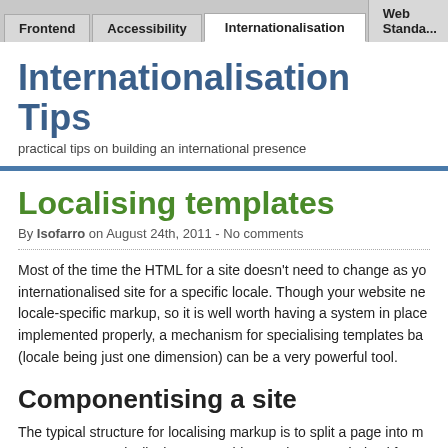Frontend | Accessibility | Internationalisation | Web Standards
Internationalisation Tips
practical tips on building an international presence
Localising templates
By Isofarro on August 24th, 2011 - No comments
Most of the time the HTML for a site doesn't need to change as you internationalised site for a specific locale. Though your website locale-specific markup, so it is well worth having a system in place implemented properly, a mechanism for specialising templates ba (locale being just one dimension) can be a very powerful tool.
Componentising a site
The typical structure for localising markup is to split a page into m components. Typically these reusable templates are derived from